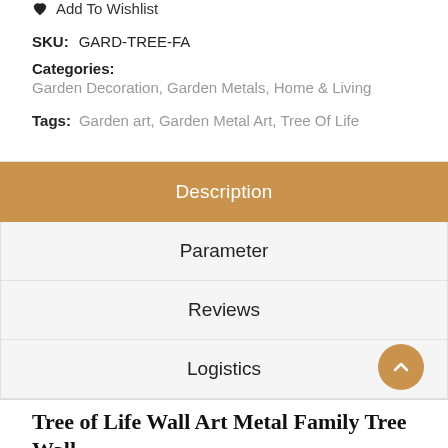Add To Wishlist
SKU: GARD-TREE-FA
Categories: Garden Decoration, Garden Metals, Home & Living
Tags: Garden art, Garden Metal Art, Tree Of Life
Description
Parameter
Reviews
Logistics
Tree of Life Wall Art Metal Family Tree Wall